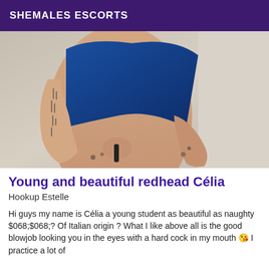SHEMALES ESCORTS
[Figure (photo): Photo of a person wearing a blue swimsuit with tattoos visible on their arm, posed with hands in front]
Young and beautiful redhead Célia
Hookup Estelle
Hi guys my name is Célia a young student as beautiful as naughty $068;$068;? Of Italian origin ? What I like above all is the good blowjob looking you in the eyes with a hard cock in my mouth ðŸ˜˜ I practice a lot of